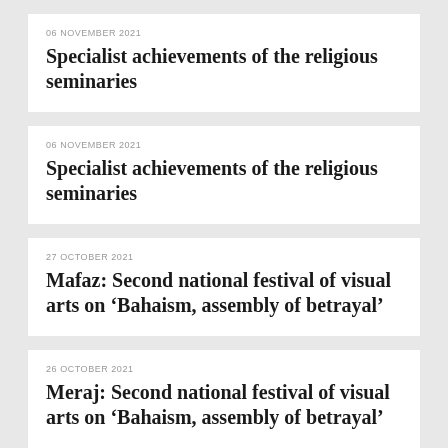06 NOVEMBER 2021
Specialist achievements of the religious seminaries
06 NOVEMBER 2021
Specialist achievements of the religious seminaries
27 OCTOBER 2021
Mafaz: Second national festival of visual arts on ‘Bahaism, assembly of betrayal’
26 OCTOBER 2021
Meraj: Second national festival of visual arts on ‘Bahaism, assembly of betrayal’
13 OCTOBER 2021